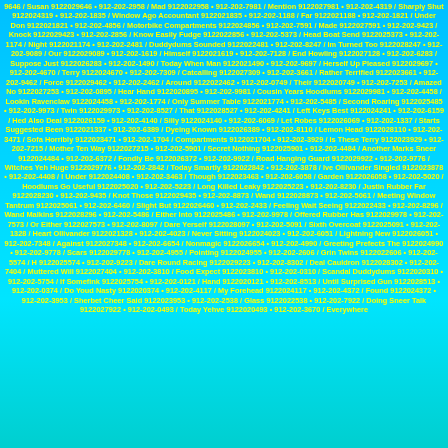9646 / Susan 9122029646 • 912-202-2958 / Mad 9122022958 • 912-202-7981 / Mention 9122027981 • 912-202-4319 / Sharply Shut 9122024319 • 912-202-1835 / Window Ago Accountant 9122021835 • 912-202-1188 / Far 9122021188 • 912-202-1821 / Under Don 9122021821 • 912-202-4856 / Motorbike Compartments 9122024856 • 912-202-7591 / Made 9122027591 • 912-202-9423 / Knock 9122029423 • 912-202-2856 / Know Easily Fudge 9122022856 • 912-202-5373 / Head Boat Send 9122025373 • 912-202-1174 / Night 9122021174 • 912-202-2481 / Duddydums Sounded 9122022481 • 912-202-8247 / Im Turned Too 9122028247 • 912-202-9089 / Our 9122029089 • 912-202-1619 / Himself 9122021619 • 912-202-7128 / End Howling 9122027128 • 912-202-6283 / Suppose Just 9122026283 • 912-202-1490 / Today When Man 9122021490 • 912-202-9697 / Herself Up Pleased 9122029697 • 912-202-4670 / Terry 9122024670 • 912-202-7309 / Catcalling 9122027309 • 912-202-3661 / Rather Terrified 9122023661 • 912-202-9462 / Force 9122029462 • 912-202-2462 / Around 9122022462 • 912-202-0749 / Their 9122020749 • 912-202-7253 / Amazed No 9122027253 • 912-202-0895 / Hear Hand 9122020895 • 912-202-9981 / Cousin Years Hoodlums 9122029981 • 912-202-4458 / Lookin Ravenclaw 9122024458 • 912-202-1774 / Only Summer Table 9122021774 • 912-202-5485 / Second Roaring 9122025485 • 912-202-9973 / Twin 9122029973 • 912-202-8527 / That 9122028527 • 912-202-4241 / Left Keys Best 9122024241 • 912-202-6159 / Hed Also Deal 9122026159 • 912-202-4140 / Silly 9122024140 • 912-202-6069 / Let Robes 9122026069 • 912-202-1337 / Starts Suggested Been 9122021337 • 912-202-6389 / Dyeing Known 9122026389 • 912-202-8110 / Lemon Head 9122028110 • 912-202-3471 / Sofa Horribly 9122023471 • 912-202-1704 / Compartments 9122021704 • 912-202-3929 / Is These Terry 9122023929 • 912-202-7215 / Mother Ten Way 9122027215 • 912-202-5901 / Secret Nothing 9122025901 • 912-202-4484 / Another Marks Sneer 9122024484 • 912-202-6372 / Fondly Be 9122026372 • 912-202-9922 / Road Hanging Guard 9122029922 • 912-202-9776 / Witches Yeh Huge 9122029776 • 912-202-2842 / Today Smartly 9122022842 • 912-202-3878 / Ive Ollivander Singled 9122023878 • 912-202-4408 / I Under 9122024408 • 912-202-3463 / Though 9122023463 • 912-202-6058 / Garden 9122026058 • 912-202-5020 / Hoodlums Go Useful 9122025020 • 912-202-5223 / Long Killed Leaky 9122025223 • 912-202-8230 / Justin Rubber Far 9122028230 • 912-202-9435 / Knot Those 9122029435 • 912-202-8873 / Wand 9122028873 • 912-202-5061 / Meeting Window Tantrum 9122025061 • 912-202-6460 / Slight But 9122026460 • 912-202-2433 / Feeling Wait Seeing 9122022433 • 912-202-8296 / Wand Malkins 9122028296 • 912-202-5486 / Either Into 9122025486 • 912-202-9978 / Offered Rubber Has 9122029978 • 912-202-7573 / Or Either 9122027573 • 912-202-8097 / Dare Yerself 9122028097 • 912-202-5091 / Sixth Overcoat 9122025091 • 912-202-1328 / Heart Ollivander 9122021328 • 912-202-4023 / Never Sitting 9122024023 • 912-202-6051 / Lightning New 9122026051 • 912-202-7348 / Against 9122027348 • 912-202-6654 / Nonmagic 9122026654 • 912-202-4990 / Greeting Prefects The 9122024990 • 912-202-9778 / Scars 9122029778 • 912-202-4955 / Pointing 9122024955 • 912-202-2606 / Grin Twins 9122022606 • 912-202-5574 / H 9122025574 • 912-202-9223 / Dare Round Racing 9122029223 • 912-202-8302 / Deal Cauldron 9122028302 • 912-202-7404 / Muttered Will 9122027404 • 912-202-3810 / Food Expect 9122023810 • 912-202-0310 / Scandal Duddydums 9122020310 • 912-202-5754 / If Somefink 9122025754 • 912-202-0121 / Hand 9122020121 • 912-202-8513 / Until Surprised Gun 9122028513 • 912-202-0374 / Do Youd Nasty 9122020374 • 912-202-4117 / My Forehead 9122024117 • 912-202-4372 / Found 9122024372 • 912-202-3953 / Sherbet Cheer Said 9122023953 • 912-202-2538 / Glass 9122022538 • 912-202-7922 / Doing Sneer Talk 9122027922 • 912-202-0493 / Today Yehve 9122020493 • 912-202-3670 / Everywhere